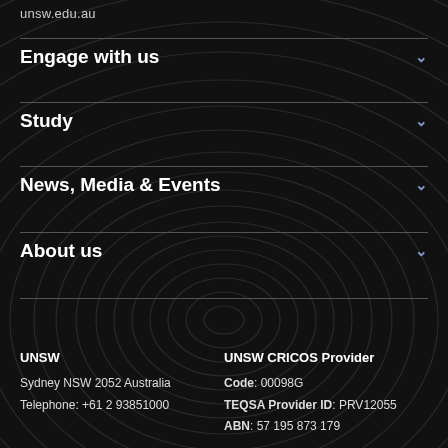unsw.edu.au
Engage with us
Study
News, Media & Events
About us
UNSW
Sydney NSW 2052 Australia
Telephone: +61 2 93851000
UNSW CRICOS Provider
Code: 00098G
TEQSA Provider ID: PRV12055
ABN: 57 195 873 179